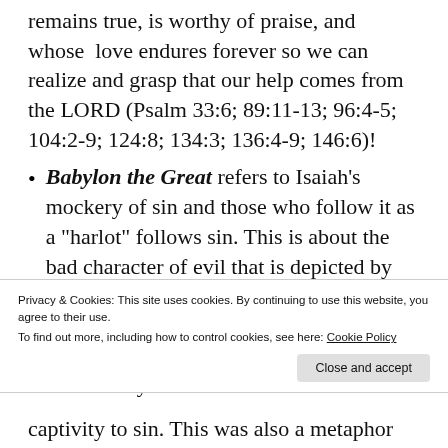remains true, is worthy of praise, and whose love endures forever so we can realize and grasp that our help comes from the LORD (Psalm 33:6; 89:11-13; 96:4-5; 104:2-9; 124:8; 134:3; 136:4-9; 146:6)!
Babylon the Great refers to Isaiah’s mockery of sin and those who follow it as a “harlot” follows sin. This is about the bad character of evil that is depicted by that ancient city. It is a contrast of evil governments in antagonism to God and God’s Kingdom, the captivity of the Jews under Babylon
Privacy & Cookies: This site uses cookies. By continuing to use this website, you agree to their use.
To find out more, including how to control cookies, see here: Cookie Policy
captivity to sin. This was also a metaphor